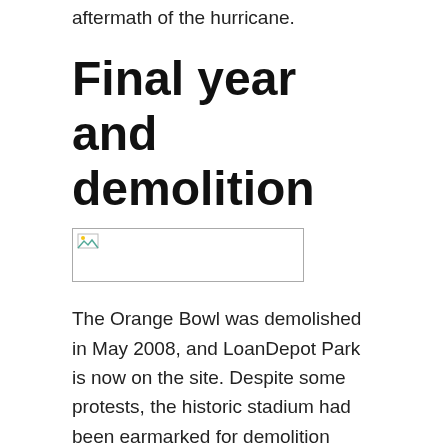aftermath of the hurricane.
Final year and demolition
[Figure (photo): Small image placeholder with broken image icon]
The Orange Bowl was demolished in May 2008, and LoanDepot Park is now on the site. Despite some protests, the historic stadium had been earmarked for demolition when the University of Miami announced that they were moving out of the Orange Bowl after